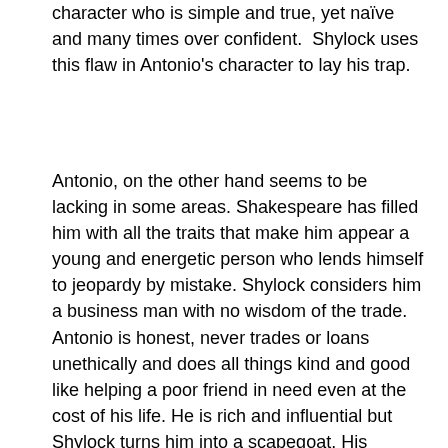character who is simple and true, yet naïve and many times over confident.  Shylock uses this flaw in Antonio's character to lay his trap.
Antonio, on the other hand seems to be lacking in some areas. Shakespeare has filled him with all the traits that make him appear a young and energetic person who lends himself to jeopardy by mistake. Shylock considers him a business man with no wisdom of the trade. Antonio is honest, never trades or loans unethically and does all things kind and good like helping a poor friend in need even at the cost of his life. He is rich and influential but Shylock turns him into a scapegoat. His honesty and love for his friend are his weaknesses that Shylock explots against him. Antonio's character is filled with extra goodness and kindness. Shylock uses this trait to exploit his true friendship with Bassanio.